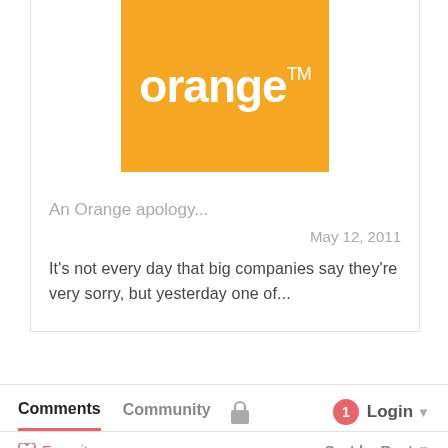[Figure (logo): Orange telecom brand logo: orange square background with white lowercase 'orange' text and TM superscript]
An Orange apology...
May 12, 2011
It's not every day that big companies say they're very sorry, but yesterday one of...
Comments   Community   🔒   1   Login
♡ Favorite   Sort by Best